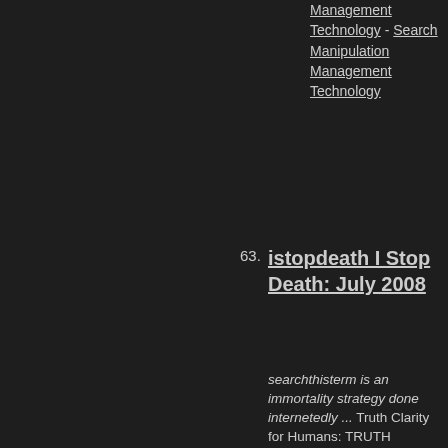Management Technology - Search Manipulation Management Technology
63. istopdeath I Stop Death: July 2008
searchthisterm is an immortality strategy done internetedly ... Truth Clarity for Humans: TRUTH PSYCHICS: ISTOPDEATH UCAN2 .... IMMORTALITY-Shesus Truth Search Manipulation Management Technology istopdeath.blogspot.com/20 - Search Manipulation Management Technology